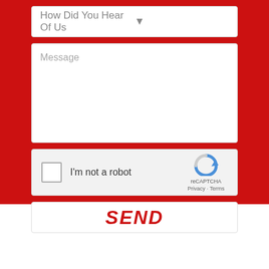[Figure (screenshot): Contact form partial view showing a dropdown field labeled 'How Did You Hear Of Us', a Message textarea, a reCAPTCHA widget with 'I'm not a robot' checkbox and reCAPTCHA logo, and a red italic SEND button, all on a red background.]